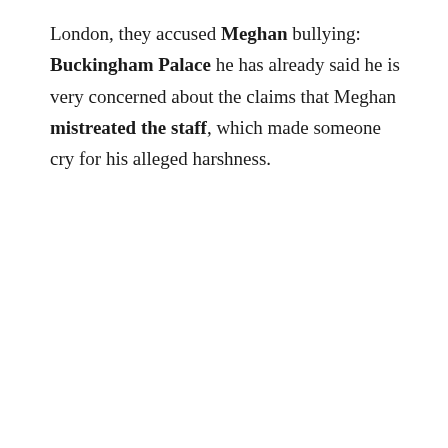London, they accused Meghan bullying: Buckingham Palace he has already said he is very concerned about the claims that Meghan mistreated the staff, which made someone cry for his alleged harshness.